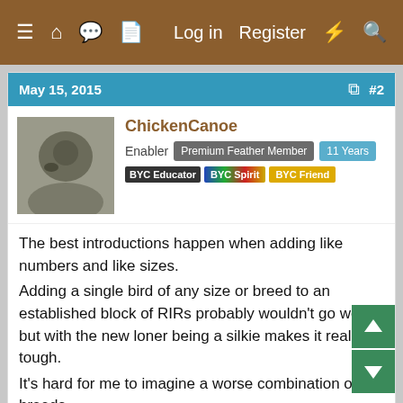≡ 🏠 💬 📄  Log in  Register  ⚡ 🔍
May 15, 2015  #2
[Figure (photo): Avatar photo of ChickenCanoe showing a chicken/bird in outdoor setting]
ChickenCanoe
Enabler  Premium Feather Member  11 Years
BYC Educator  BYC Spirit  BYC Friend
The best introductions happen when adding like numbers and like sizes.
Adding a single bird of any size or breed to an established block of RIRs probably wouldn't go well but with the new loner being a silkie makes it really tough.
It's hard for me to imagine a worse combination of breeds.
An established flock of RIRs (which can tend to be the bullies of a mixed flock) and adding a single silkie, one of the most docile breeds. Silkies are also slower than the RIRs and with restricted vision making them extra vulnerable.